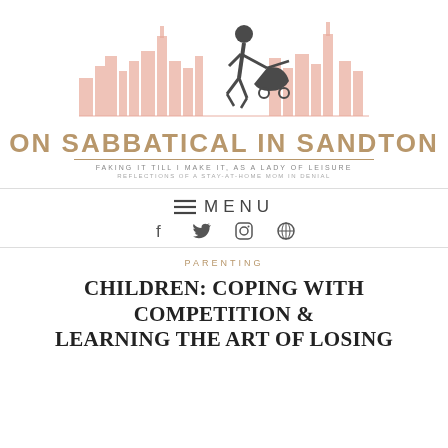[Figure (logo): Blog logo: silhouette of woman pushing pram against a city skyline in pink/salmon tones, with site name ON SABBATICAL IN SANDTON in gold below]
ON SABBATICAL IN SANDTON
FAKING IT TILL I MAKE IT, AS A LADY OF LEISURE
REFLECTIONS OF A STAY-AT-HOME MOM IN DENIAL
≡ MENU
Social icons: Facebook, Twitter, Instagram, WordPress
PARENTING
CHILDREN: COPING WITH COMPETITION & LEARNING THE ART OF LOSING